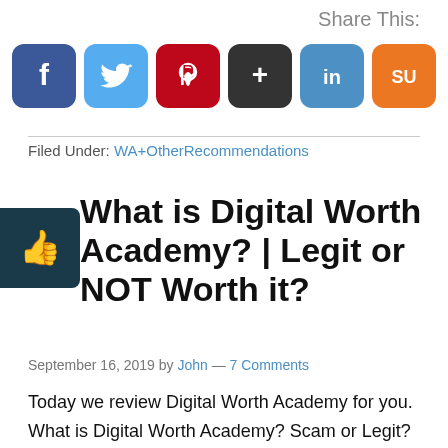Share This:
[Figure (infographic): Six social media share buttons in a row: Facebook (blue), Twitter (light blue), Pinterest (red), Google+ (dark/black), LinkedIn (blue), StumbleUpon (orange)]
Filed Under: WA+OtherRecommendations
What is Digital Worth Academy? | Legit or NOT Worth it?
September 16, 2019 by John — 7 Comments
Today we review Digital Worth Academy for you. What is Digital Worth Academy? Scam or Legit? How does it work? What do they offer